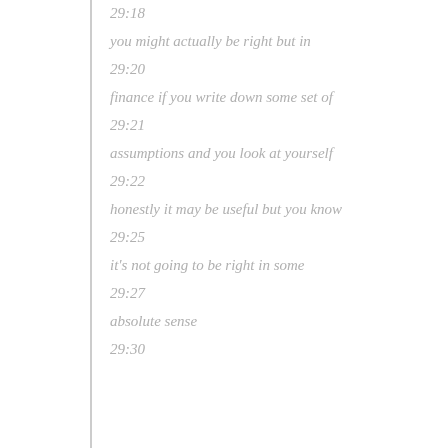29:18
you might actually be right but in
29:20
finance if you write down some set of
29:21
assumptions and you look at yourself
29:22
honestly it may be useful but you know
29:25
it's not going to be right in some
29:27
absolute sense
29:30